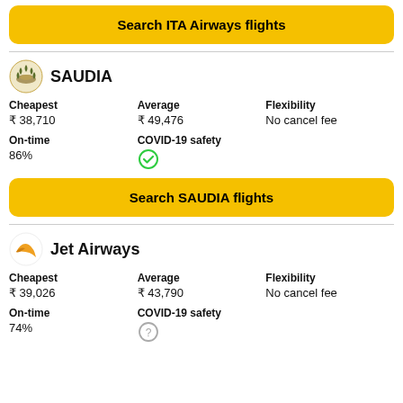Search ITA Airways flights
SAUDIA
Cheapest ₹ 38,710 | Average ₹ 49,476 | Flexibility No cancel fee
On-time 86% | COVID-19 safety ✓
Search SAUDIA flights
Jet Airways
Cheapest ₹ 39,026 | Average ₹ 43,790 | Flexibility No cancel fee
On-time 74% | COVID-19 safety ?